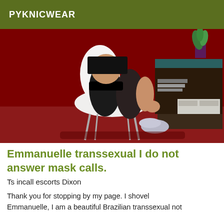PYKNICWEAR
[Figure (photo): A person seated on a white modern chair, wearing black stockings and a short skirt with silver heels, in a room with a red rug and dark wood furniture with a plant in the background.]
Emmanuelle transsexual I do not answer mask calls.
Ts incall escorts Dixon
Thank you for stopping by my page. I shovel Emmanuelle, I am a beautiful Brazilian transsexual not